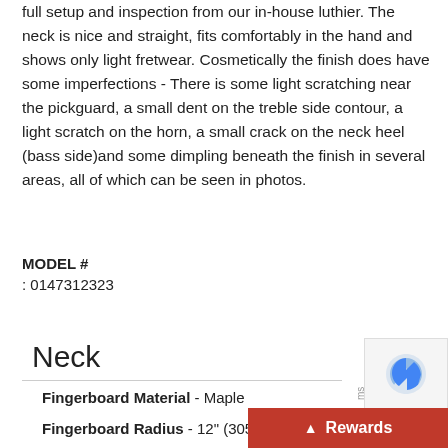full setup and inspection from our in-house luthier. The neck is nice and straight, fits comfortably in the hand and shows only light fretwear. Cosmetically the finish does have some imperfections - There is some light scratching near the pickguard, a small dent on the treble side contour, a light scratch on the horn, a small crack on the neck heel (bass side)and some dimpling beneath the finish in several areas, all of which can be seen in photos.
MODEL #
: 0147312323
Neck
Fingerboard Material - Maple
Fingerboard Radius - 12" (305 mm)